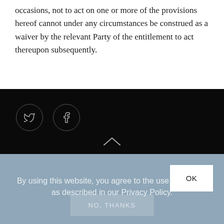occasions, not to act on one or more of the provisions hereof cannot under any circumstances be construed as a waiver by the relevant Party of the entitlement to act thereupon subsequently.
[Figure (other): Black footer bar with Twitter and Facebook social media icon circles and an upward chevron arrow centered at the bottom]
By using this website, you agree to the use of cookies as described in our Privacy Policy.